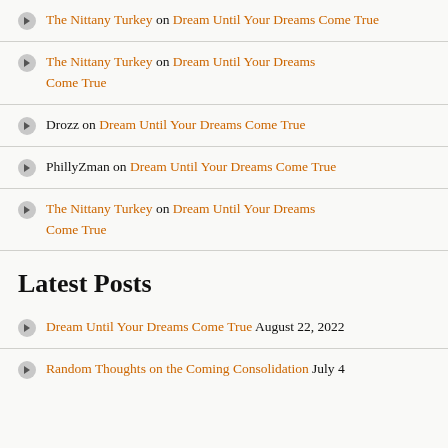The Nittany Turkey on Dream Until Your Dreams Come True
The Nittany Turkey on Dream Until Your Dreams Come True
Drozz on Dream Until Your Dreams Come True
PhillyZman on Dream Until Your Dreams Come True
The Nittany Turkey on Dream Until Your Dreams Come True
Latest Posts
Dream Until Your Dreams Come True August 22, 2022
Random Thoughts on the Coming Consolidation July 4...